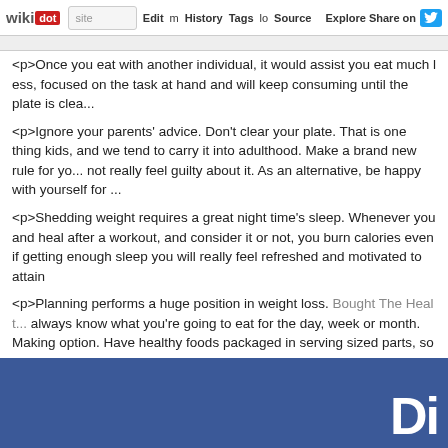wikidot | site Edit History Tags Source Explore Share on Twitter
<p>Once you eat with another individual, it would assist you eat much less, focused on the task at hand and will keep consuming until the plate is cle...
<p>Ignore your parents' advice. Don't clear your plate. That is one thing kids, and we tend to carry it into adulthood. Make a brand new rule for yo... not really feel guilty about it. As an alternative, be happy with yourself for ...
<p>Shedding weight requires a great night time's sleep. Whenever you and heal after a workout, and consider it or not, you burn calories even if getting enough sleep you will really feel refreshed and motivated to attain
<p>Planning performs a huge position in weight loss. Bought The Healt... always know what you're going to eat for the day, week or month. Making option. Have healthy foods packaged in serving sized parts, so to simply t
<p>Be sure to drink loads of water every day. It's critical that you do not p... Our bodies have a method of mistaking thirstiness for starvation, and tha... is you need to be trying to quench your thirst.</p>
<p>Don't give in to false hopes by convincing your self that it is okay to... notoriously unhealthy fast food institutions. In any case, it doesn't take 1000-calorie burger, however that does not imply a 950-calorie salad is a
[Figure (screenshot): Blue background image at the bottom of the page, partial white logo visible in bottom-right corner]